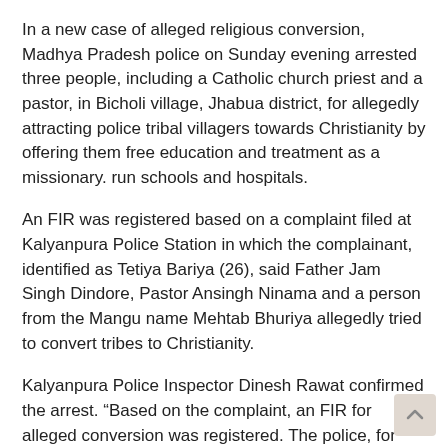In a new case of alleged religious conversion, Madhya Pradesh police on Sunday evening arrested three people, including a Catholic church priest and a pastor, in Bicholi village, Jhabua district, for allegedly attracting police tribal villagers towards Christianity by offering them free education and treatment as a missionary. run schools and hospitals.
An FIR was registered based on a complaint filed at Kalyanpura Police Station in which the complainant, identified as Tetiya Bariya (26), said Father Jam Singh Dindore, Pastor Ansingh Ninama and a person from the Mangu name Mehtab Bhuriya allegedly tried to convert tribes to Christianity.
Kalyanpura Police Inspector Dinesh Rawat confirmed the arrest. “Based on the complaint, an FIR for alleged conversion was registered. The police, for their part, recovered a Bible and a pot to hold water on the spot, ” he declared.
Tetiya Bariya, in his written request, said: “On December